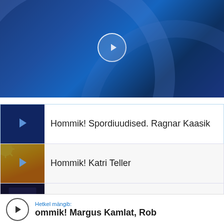[Figure (screenshot): Blue abstract curved background with a white-bordered circular play button in the center]
Hommik! Spordiuudised. Ragnar Kaasik
Hommik! Katri Teller
Pronto! Micaela Saraceno
Hetkel mängib: ommik! Margus Kamlat, Rob